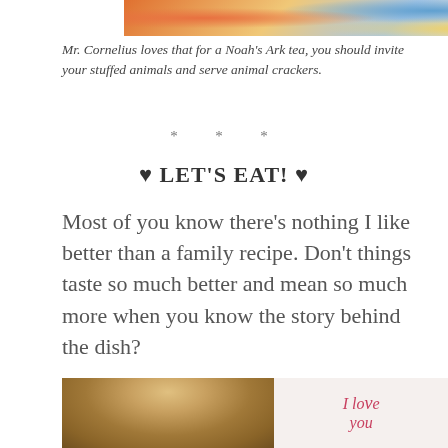[Figure (photo): Partial view of a colorful illustrated image at the top of the page, cropped showing colors of orange, blue, and cream tones. A 'tip:' badge is visible at the right edge.]
Mr. Cornelius loves that for a Noah’s Ark tea, you should invite your stuffed animals and serve animal crackers.
* * *
♥ LET’S EAT! ♥
Most of you know there’s nothing I like better than a family recipe. Don’t things taste so much better and mean so much more when you know the story behind the dish?
[Figure (photo): A teddy bear with fluffy tan fur sitting next to a white mug with red cursive text reading 'I love you'.]